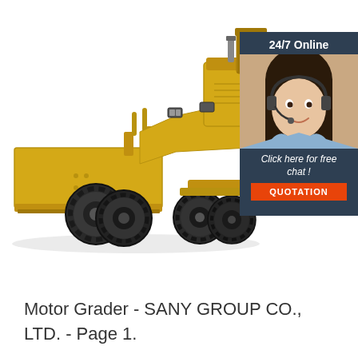[Figure (photo): Yellow motor grader construction machine (SANY) with large front blade, viewed from front-left angle. Overlaid on the right side is a promotional chat widget with a customer service representative image, '24/7 Online' header, 'Click here for free chat!' text, and an orange 'QUOTATION' button, all on a dark navy background.]
Motor Grader - SANY GROUP CO., LTD. - Page 1.